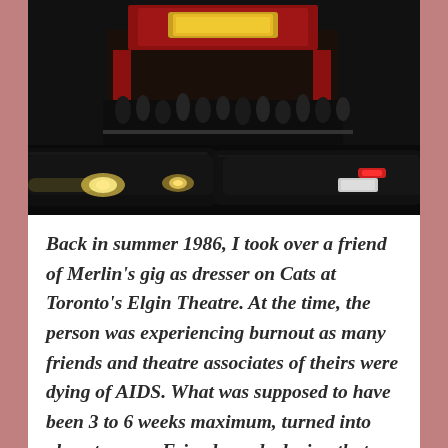[Figure (photo): Night-time street scene outside a theatre (Elgin Theatre Toronto area). Dark image showing cars with headlights in motion blur on the street, a crowd of people gathered outside a building with illuminated red signage visible in the background.]
Back in summer 1986, I took over a friend of Merlin's gig as dresser on Cats at Toronto's Elgin Theatre. At the time, the person was experiencing burnout as many friends and theatre associates of theirs were dying of AIDS. What was supposed to have been 3 to 6 weeks maximum, turned into almost a year. Friends made during that time, still work